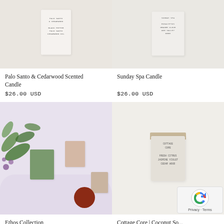[Figure (photo): White frosted candle jar labeled Palo Santo & Cedarwood with black text listing notes]
[Figure (photo): White frosted candle jar labeled Sunday Spa with black text listing notes]
Palo Santo & Cedarwood Scented Candle
$26.00 USD
Sunday Spa Candle
$26.00 USD
[Figure (photo): Multiple candles in green and peach colors surrounded by flowers, leaves, and a cut apple on a lavender cloth]
[Figure (photo): Frosted glass candle jar with wooden lid labeled Cottage Core with scent notes listed]
Ethos Collection
From $32.00 USD
Cottage Core | Coconut So...
$26.00 USD